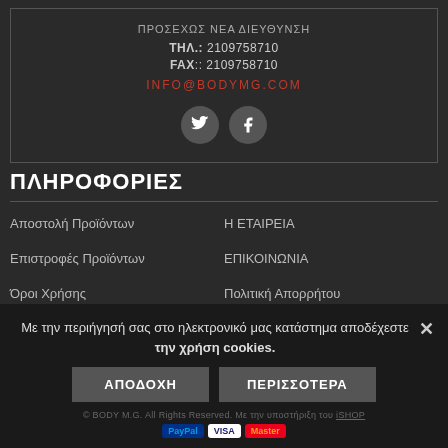ΠΡΟΣΕΧΩΣ ΝΕΑ ΔΙΕΥΘΥΝΣΗ
ΤΗΛ.: 2109758710
FAX:: 2109758710
INFO@BODYMG.COM
[Figure (illustration): Twitter and Facebook social media icons (circular dark buttons with white icons)]
ΠΛΗΡΟΦΟΡΙΕΣ
Αποστολή Προϊόντων
Η ΕΤΑΙΡΕΙΑ
Επιστροφές Προϊόντων
ΕΠΙΚΟΙΝΩΝΙΑ
Όροι Χρήσης
Πολιτική Απορρήτου
Τρόποι Πληρωμής
Με την περιήγησή σας στο ηλεκτρονικό μας κατάστημα αποδέχεστε την χρήση cookies.
ΑΠΟΔΟΧΗ   ΠΕΡΙΣΣΟΤΕΡΑ
© BODY M.G. All Rights Reserved. Με την υποστήριξη του iSHOP